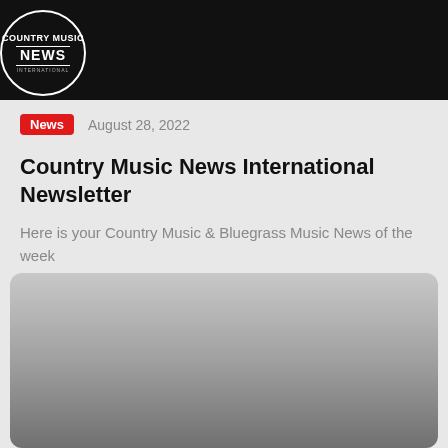COUNTRY MUSIC NEWS INTERNATIONAL
News   August 28, 2022
Country Music News International Newsletter
Here is your Country Music & Bluegrass Music News of the week
[Figure (photo): Gray gradient placeholder image with rounded corners at the bottom of the page]